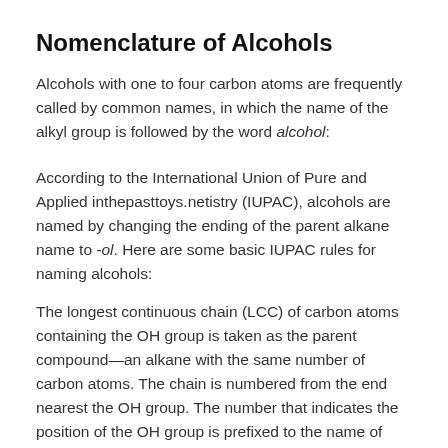Nomenclature of Alcohols
Alcohols with one to four carbon atoms are frequently called by common names, in which the name of the alkyl group is followed by the word alcohol:
According to the International Union of Pure and Applied inthepasttoys.netistry (IUPAC), alcohols are named by changing the ending of the parent alkane name to -ol. Here are some basic IUPAC rules for naming alcohols:
The longest continuous chain (LCC) of carbon atoms containing the OH group is taken as the parent compound—an alkane with the same number of carbon atoms. The chain is numbered from the end nearest the OH group. The number that indicates the position of the OH group is prefixed to the name of